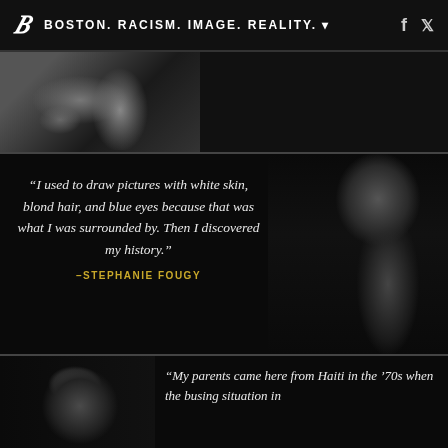BOSTON. RACISM. IMAGE. REALITY.
[Figure (photo): Black and white close-up photograph of hands, partially cropped, with fabric or clothing visible]
“I used to draw pictures with white skin, blond hair, and blue eyes because that was what I was surrounded by. Then I discovered my history.” –STEPHANIE FOUGY
[Figure (photo): Black and white portrait photograph of a woman in profile view facing right, with braided hair, wearing a sleeveless top]
[Figure (photo): Black and white portrait photograph of a man with a beard, partially cropped, facing slightly to the right]
“My parents came here from Haiti in the ’70s when the busing situation in